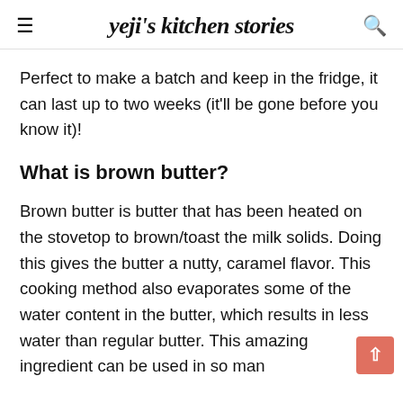yeji's kitchen stories
Perfect to make a batch and keep in the fridge, it can last up to two weeks (it'll be gone before you know it)!
What is brown butter?
Brown butter is butter that has been heated on the stovetop to brown/toast the milk solids. Doing this gives the butter a nutty, caramel flavor. This cooking method also evaporates some of the water content in the butter, which results in less water than regular butter. This amazing ingredient can be used in so many